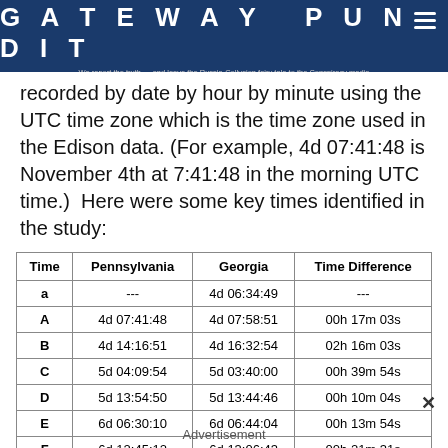GATEWAY PUNDIT — We report the truth — and leave the Russia-Collusion fairy tale to the Conspiracy media
recorded by date by hour by minute using the UTC time zone which is the time zone used in the Edison data. (For example, 4d 07:41:48 is November 4th at 7:41:48 in the morning UTC time.)  Here were some key times identified in the study:
| Time | Pennsylvania | Georgia | Time Difference |
| --- | --- | --- | --- |
| a | --- | 4d 06:34:49 | --- |
| A | 4d 07:41:48 | 4d 07:58:51 | 00h 17m 03s |
| B | 4d 14:16:51 | 4d 16:32:54 | 02h 16m 03s |
| C | 5d 04:09:54 | 5d 03:40:00 | 00h 39m 54s |
| D | 5d 13:54:50 | 5d 13:44:46 | 00h 10m 04s |
| E | 6d 06:30:10 | 6d 06:44:04 | 00h 13m 54s |
| F | 6d 12:45:12 | 6d 13:06:43 | 00h 21m 31s |
Advertisement